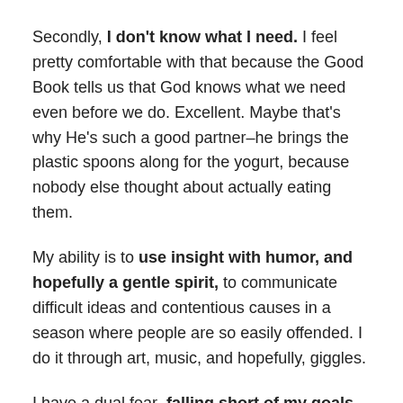Secondly, I don't know what I need. I feel pretty comfortable with that because the Good Book tells us that God knows what we need even before we do. Excellent. Maybe that's why He's such a good partner–he brings the plastic spoons along for the yogurt, because nobody else thought about actually eating them.
My ability is to use insight with humor, and hopefully a gentle spirit, to communicate difficult ideas and contentious causes in a season where people are so easily offended. I do it through art, music, and hopefully, giggles.
I have a dual fear–falling short of my goals because of my age and physical limitations, and losing my solvency and embarrassing the people around me because my